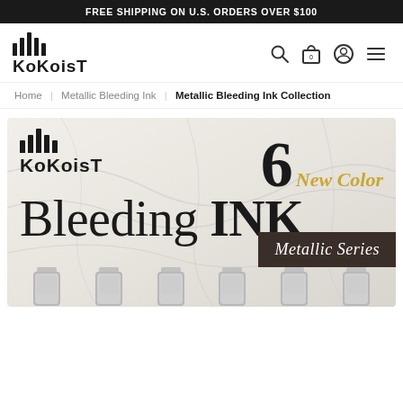FREE SHIPPING ON U.S. ORDERS OVER $100
[Figure (logo): KOKOIST brand logo with vertical bars above the text]
[Figure (infographic): Navigation icons: search, shopping bag with 0, user account, hamburger menu]
Home | Metallic Bleeding Ink | Metallic Bleeding Ink Collection
[Figure (infographic): KOKOIST Bleeding INK Metallic Series product banner with marble background. Shows KOKOIST logo, '6 New Color' badge in gold script, 'Bleeding INK' large text, 'Metallic Series' dark banner, and row of product bottles at bottom.]